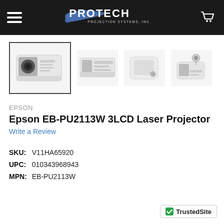[Figure (logo): Protech Projection Systems, Inc. logo on black header bar with hamburger menu on left and cart icon on right]
[Figure (photo): Product image gallery showing four views of the Epson EB-PU2113W 3LCD Laser Projector: front view (main, bordered), side/back view, top view, and angled view]
EPSON
Epson EB-PU2113W 3LCD Laser Projector
Write a Review
| SKU: | V11HA65920 |
| UPC: | 010343968943 |
| MPN: | EB-PU2113W |
[Figure (logo): TrustedSite badge with green checkmark]